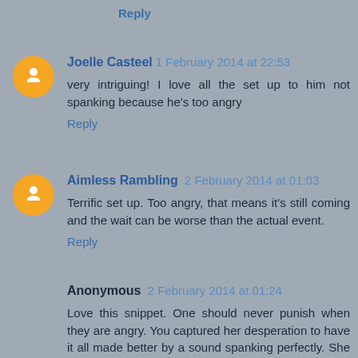Reply
Joelle Casteel 1 February 2014 at 22:53
very intriguing! I love all the set up to him not spanking because he's too angry
Reply
Aimless Rambling 2 February 2014 at 01:03
Terrific set up. Too angry, that means it's still coming and the wait can be worse than the actual event.
Reply
Anonymous 2 February 2014 at 01:24
Love this snippet. One should never punish when they are angry. You captured her desperation to have it all made better by a sound spanking perfectly. She knows it's the only way she'll feel right again.